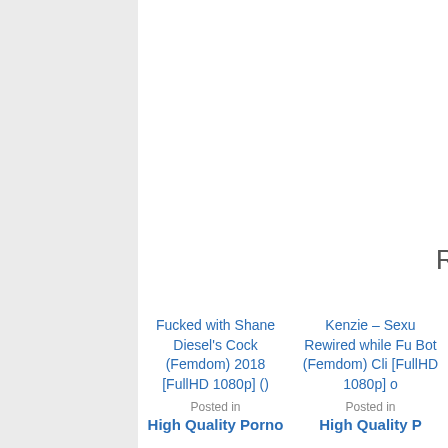R
Fucked with Shane Diesel's Cock (Femdom) 2018 [FullHD 1080p] ()
Posted in
High Quality Porno
Kenzie – Sexu Rewired while Fu Bot (Femdom) Cli [FullHD 1080p]
Posted in
High Quality P